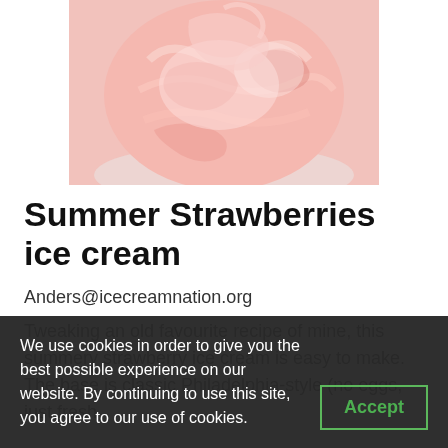[Figure (photo): Close-up photo of a scoop of pink strawberry ice cream in a white bowl, showing swirled creamy texture with strawberry bits.]
Summer Strawberries ice cream
Anders@icecreamnation.org
Tweaking an old favourite recipe of mine, this summery strawberry ice cream is easy to make. The base is classic Philadelphia-style (no eggs, just fresh
We use cookies in order to give you the best possible experience on our website. By continuing to use this site, you agree to our use of cookies.